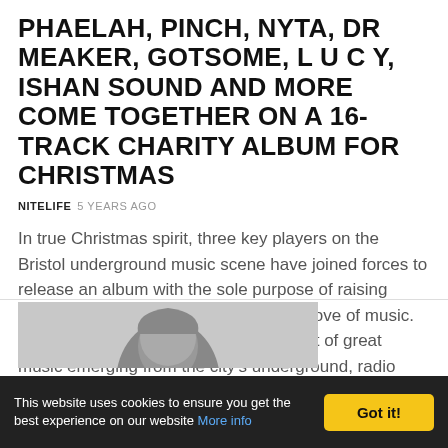PHAELAH, PINCH, NYTA, DR MEAKER, GOTSOME, L U C Y, ISHAN SOUND AND MORE COME TOGETHER ON A 16-TRACK CHARITY ALBUM FOR CHRISTMAS
NITELIFE 5 YEARS AGO
In true Christmas spirit, three key players on the Bristol underground music scene have joined forces to release an album with the sole purpose of raising money for charity through their shared love of music. Providing a platform for the vast amount of great music emerging from the city's underground, radio station SWU.FM have collaborated ...
[Figure (photo): Black and white photo of a person's head/face, partially visible, cropped at top]
This website uses cookies to ensure you get the best experience on our website More info